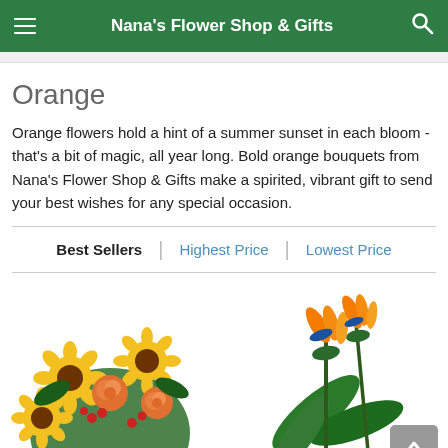Nana's Flower Shop & Gifts
Orange
Orange flowers hold a hint of a summer sunset in each bloom - that's a bit of magic, all year long. Bold orange bouquets from Nana's Flower Shop & Gifts make a spirited, vibrant gift to send your best wishes for any special occasion.
Best Sellers | Highest Price | Lowest Price
[Figure (photo): Left: Round bouquet of sunflowers and orange roses with red berry accents. Right: Bird of paradise flowers with green tropical leaves.]